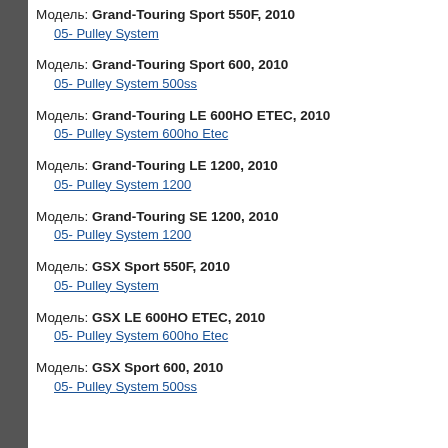Модель: Grand-Touring Sport 550F, 2010
05- Pulley System
Модель: Grand-Touring Sport 600, 2010
05- Pulley System 500ss
Модель: Grand-Touring LE 600HO ETEC, 2010
05- Pulley System 600ho Etec
Модель: Grand-Touring LE 1200, 2010
05- Pulley System 1200
Модель: Grand-Touring SE 1200, 2010
05- Pulley System 1200
Модель: GSX Sport 550F, 2010
05- Pulley System
Модель: GSX LE 600HO ETEC, 2010
05- Pulley System 600ho Etec
Модель: GSX Sport 600, 2010
05- Pulley System 500ss